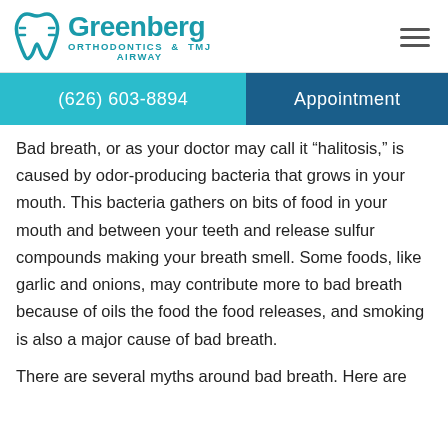[Figure (logo): Greenberg Orthodontics & TMJ Airway logo with teal tooth/bracket icon]
(626) 603-8894    Appointment
Bad breath, or as your doctor may call it “halitosis,” is caused by odor-producing bacteria that grows in your mouth. This bacteria gathers on bits of food in your mouth and between your teeth and release sulfur compounds making your breath smell. Some foods, like garlic and onions, may contribute more to bad breath because of oils the food the food releases, and smoking is also a major cause of bad breath.
There are several myths around bad breath. Here are